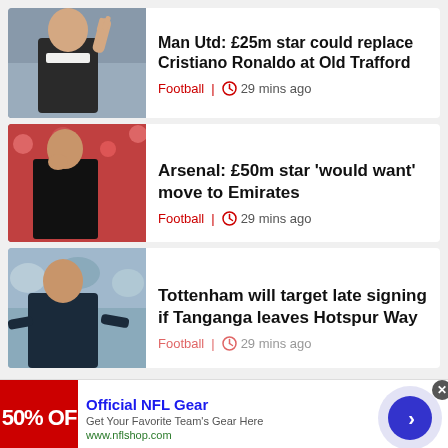[Figure (photo): Man Utd manager gesturing with hand raised, in a jacket against a blurred crowd background]
Man Utd: £25m star could replace Cristiano Ronaldo at Old Trafford
Football | 29 mins ago
[Figure (photo): Arsenal manager in dark top, hand near face, crowd visible behind]
Arsenal: £50m star 'would want' move to Emirates
Football | 29 mins ago
[Figure (photo): Tottenham manager in dark jacket, arms spread, stadium background]
Tottenham will target late signing if Tanganga leaves Hotspur Way
Football | 29 mins ago
[Figure (infographic): Advertisement banner: Official NFL Gear - 50% OFF - Get Your Favorite Team's Gear Here - www.nflshop.com]